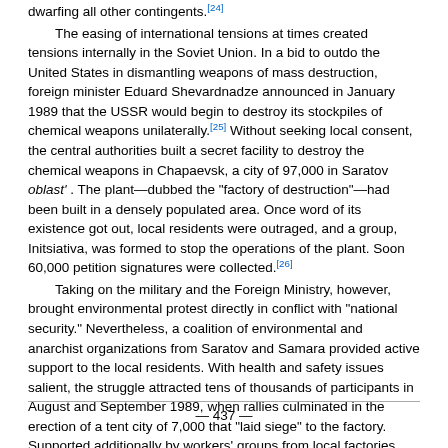dwarfing all other contingents.[24]
The easing of international tensions at times created tensions internally in the Soviet Union. In a bid to outdo the United States in dismantling weapons of mass destruction, foreign minister Eduard Shevardnadze announced in January 1989 that the USSR would begin to destroy its stockpiles of chemical weapons unilaterally.[25] Without seeking local consent, the central authorities built a secret facility to destroy the chemical weapons in Chapaevsk, a city of 97,000 in Saratov oblast'. The plant—dubbed the "factory of destruction"—had been built in a densely populated area. Once word of its existence got out, local residents were outraged, and a group, Initsiativa, was formed to stop the operations of the plant. Soon 60,000 petition signatures were collected.[26]
Taking on the military and the Foreign Ministry, however, brought environmental protest directly in conflict with "national security." Nevertheless, a coalition of environmental and anarchist organizations from Saratov and Samara provided active support to the local residents. With health and safety issues salient, the struggle attracted tens of thousands of participants in August and September 1989, when rallies culminated in the erection of a tent city of 7,000 that "laid siege" to the factory. Supported additionally by workers' groups from local factories, the "siege" continued for thirty-five days until the central government agreed to convert the plant to a training center.[27]
By 1989 workers as a self-organized group also began to react to issues of occupational and public health. Of particular note were actual or threat-
— 437 —